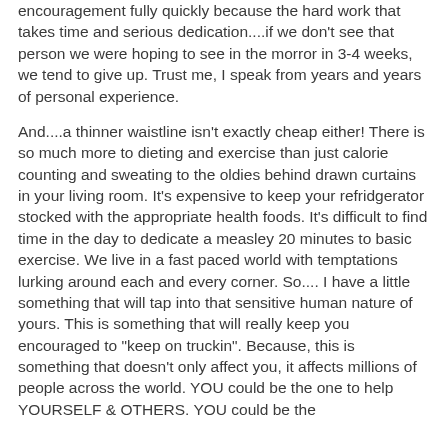encouragement fully quickly because the hard work that takes time and serious dedication....if we don't see that person we were hoping to see in the morror in 3-4 weeks, we tend to give up. Trust me, I speak from years and years of personal experience.
And....a thinner waistline isn't exactly cheap either! There is so much more to dieting and exercise than just calorie counting and sweating to the oldies behind drawn curtains in your living room. It's expensive to keep your refridgerator stocked with the appropriate health foods. It's difficult to find time in the day to dedicate a measley 20 minutes to basic exercise. We live in a fast paced world with temptations lurking around each and every corner. So.... I have a little something that will tap into that sensitive human nature of yours. This is something that will really keep you encouraged to "keep on truckin". Because, this is something that doesn't only affect you, it affects millions of people across the world. YOU could be the one to help YOURSELF & OTHERS. YOU could be the